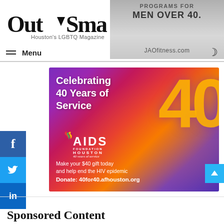[Figure (logo): Out Smart Houston's LGBTQ Magazine logo with downward triangle arrow between Out and Smart]
[Figure (screenshot): Ad banner: Programs for Men Over 40, JAOfitness.com, with dark background fitness image]
≡ Menu
[Figure (infographic): AIDS Foundation Houston 40th anniversary ad: Celebrating 40 Years of Service. Make your $40 gift today and help end the HIV epidemic. Donate: 40for40.afhouston.org]
Sponsored Content